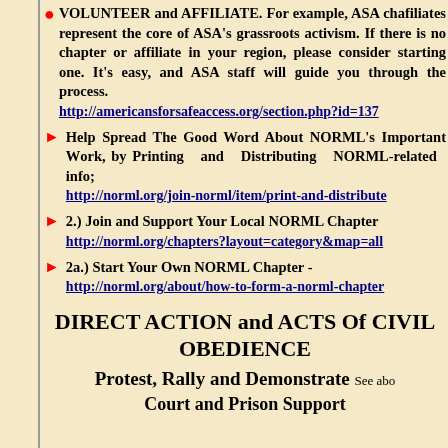VOLUNTEER and AFFILIATE. For example, ASA chapters and affiliates represent the core of ASA's grassroots activism. If there is no chapter or affiliate in your region, please consider starting one. It's easy, and ASA staff will guide you through the process. http://americansforsafeaccess.org/section.php?id=137
Help Spread The Good Word About NORML's Important Work, by Printing and Distributing NORML-related info; http://norml.org/join-norml/item/print-and-distribute
2.) Join and Support Your Local NORML Chapter http://norml.org/chapters?layout=category&map=all
2a.) Start Your Own NORML Chapter - http://norml.org/about/how-to-form-a-norml-chapter
DIRECT ACTION and ACTS Of CIVIL OBEDIENCE
Protest, Rally and Demonstrate See above
Court and Prison Support